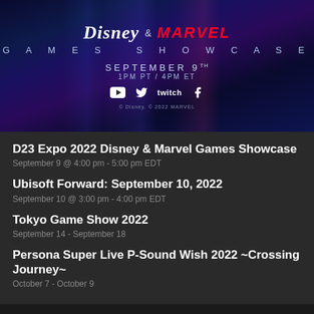[Figure (illustration): Disney & Marvel Games Showcase promotional banner with dark blue/purple gradient background with light streaks. Shows Disney logo, Marvel logo, date September 9th 1PM PT / 4PM ET, and social media icons for YouTube, Twitter, Twitch, and Facebook.]
D23 Expo 2022 Disney & Marvel Games Showcase
September 9 @ 4:00 pm - 5:00 pm EDT
Ubisoft Forward: September 10, 2022
September 10 @ 3:00 pm - 4:00 pm EDT
Tokyo Game Show 2022
September 14 - September 18
Persona Super Live P-Sound Wish 2022 ~Crossing Journey~
October 7 - October 9